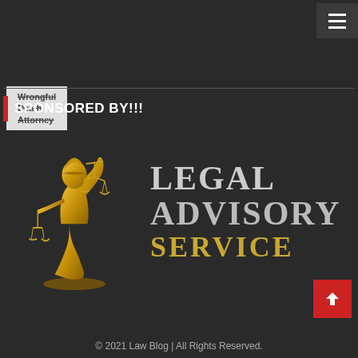Wrongful Death Attorney
SPONSORED BY!!!
[Figure (logo): Legal Advisory Service logo featuring a gold Lady Justice statue holding scales, with text 'LEGAL ADVISORY SERVICE' in silver and gold lettering on dark background]
© 2021 Law Blog | All Rights Reserved.